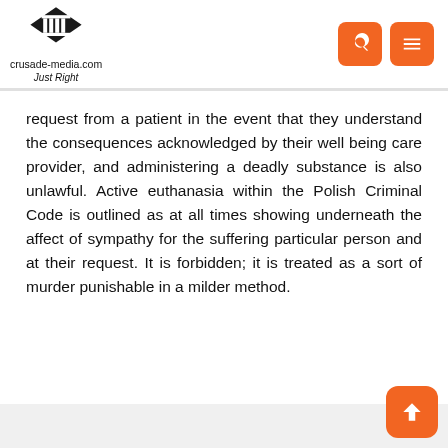crusade-media.com Just Right
request from a patient in the event that they understand the consequences acknowledged by their well being care provider, and administering a deadly substance is also unlawful. Active euthanasia within the Polish Criminal Code is outlined as at all times showing underneath the affect of sympathy for the suffering particular person and at their request. It is forbidden; it is treated as a sort of murder punishable in a milder method.